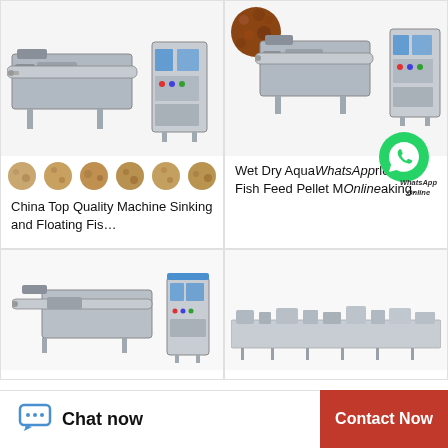[Figure (photo): Industrial fish feed pellet machine (extruder) with control panel, and 6 sample pellet circles below]
China Top Quality Machine Sinking and Floating Fis…
[Figure (photo): Industrial wet/dry aquarium fish feed pellet making machine with control panel, fish feed pellets inset top-left, WhatsApp Online badge overlay]
Wet Dry Aquarium Floating Fish Feed Pellet Making…
[Figure (photo): Industrial fish feed extruder machine (smaller model)]
[Figure (photo): Long industrial fish feed production line machine]
Chat now
Contact Now